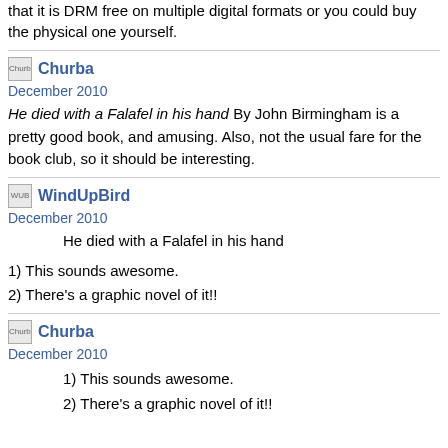that it is DRM free on multiple digital formats or you could buy the physical one yourself.
Churba  Churba
December 2010
He died with a Falafel in his hand By John Birmingham is a pretty good book, and amusing. Also, not the usual fare for the book club, so it should be interesting.
WindUpBird  WindUpBird
December 2010
He died with a Falafel in his hand
1) This sounds awesome.
2) There's a graphic novel of it!!
Churba  Churba
December 2010
1) This sounds awesome.
2) There's a graphic novel of it!!